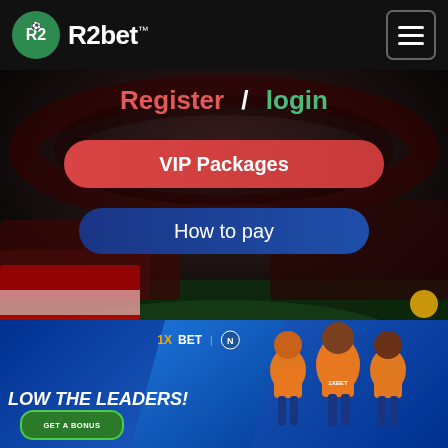[Figure (logo): R2bet logo with green circle and white R2 icon, white text R2bet]
[Figure (screenshot): Hamburger menu icon in rounded square button]
Register  /  login
VIP Packages
How to pay
[Figure (photo): Dark stadium background with crowd and green field, red and white flag visible on left side]
[Figure (photo): 1XBET advertisement banner with football players in orange jerseys. Text: LOW THE LEADERS! GET A BONUS button]
LOW THE LEADERS!
GET A BONUS